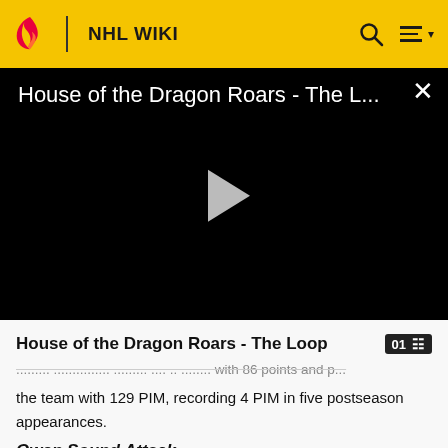NHL WIKI
[Figure (screenshot): Video player with black background showing title 'House of the Dragon Roars - The L...' with a play button and close X button]
House of the Dragon Roars - The Loop
the team with 129 PIM, recording 4 PIM in five postseason appearances.
Owen Sound Attack